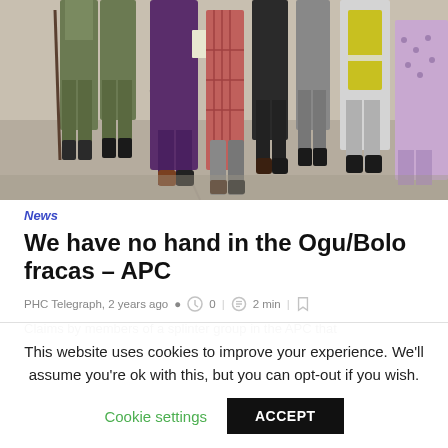[Figure (photo): Group of people walking on a concrete floor; some in military camouflage uniforms, others in civilian clothes including traditional Nigerian attire and a high-visibility vest. Only legs and lower bodies visible. Overhead view/low angle.]
News
We have no hand in the Ogu/Bolo fracas – APC
PHC Telegraph, 2 years ago   0  |   2 min  |
Claims by members of a splinter group in the APC that
This website uses cookies to improve your experience. We'll assume you're ok with this, but you can opt-out if you wish.
Cookie settings   ACCEPT